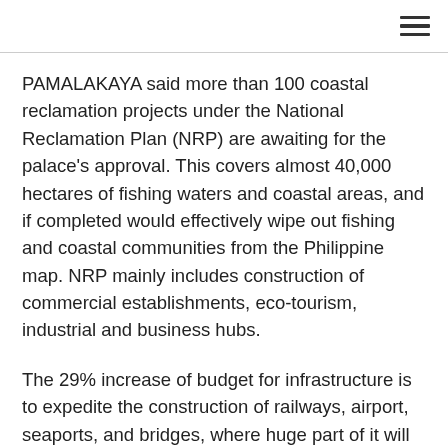[hamburger menu icon]
PAMALAKAYA said more than 100 coastal reclamation projects under the National Reclamation Plan (NRP) are awaiting for the palace’s approval. This covers almost 40,000 hectares of fishing waters and coastal areas, and if completed would effectively wipe out fishing and coastal communities from the Philippine map. NRP mainly includes construction of commercial establishments, eco-tourism, industrial and business hubs.
The 29% increase of budget for infrastructure is to expedite the construction of railways, airport, seaports, and bridges, where huge part of it will be sourced from local and foreign debt.
“The budget increase would gratify the pet projects of